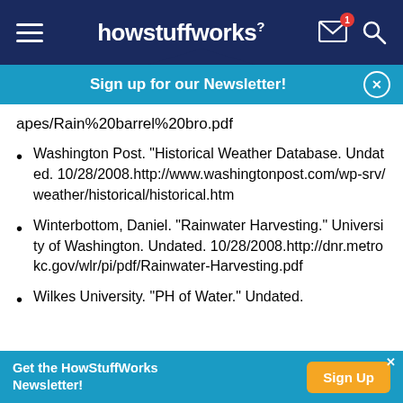howstuffworks
Sign up for our Newsletter!
apes/Rain%20barrel%20bro.pdf
Washington Post. "Historical Weather Database. Undated. 10/28/2008.http://www.washingtonpost.com/wp-srv/weather/historical/historical.htm
Winterbottom, Daniel. "Rainwater Harvesting." University of Washington. Undated. 10/28/2008.http://dnr.metrokc.gov/wlr/pi/pdf/Rainwater-Harvesting.pdf
Wilkes University. "PH of Water." Undated.
Get the HowStuffWorks Newsletter!